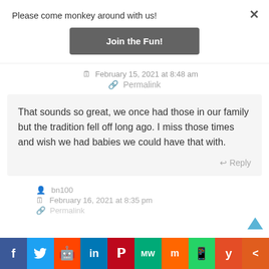Please come monkey around with us!
Join the Fun!
February 15, 2021 at 8:48 am
Permalink
That sounds so great, we once had those in our family but the tradition fell off long ago. I miss those times and wish we had babies we could have that with.
Reply
bn100
February 16, 2021 at 8:35 pm
Permalink